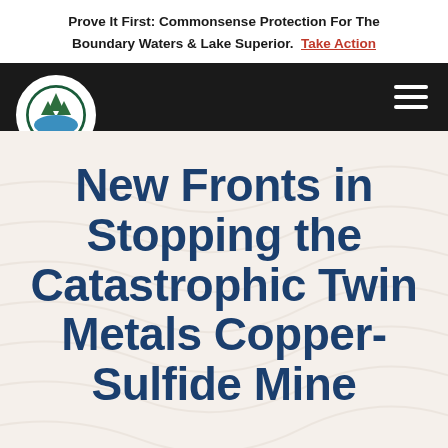Prove It First: Commonsense Protection For The Boundary Waters & Lake Superior. Take Action
[Figure (logo): Friends of the Boundary Waters Wilderness circular logo with trees and water on dark nav bar, with hamburger menu icon on the right]
New Fronts in Stopping the Catastrophic Twin Metals Copper-Sulfide Mine